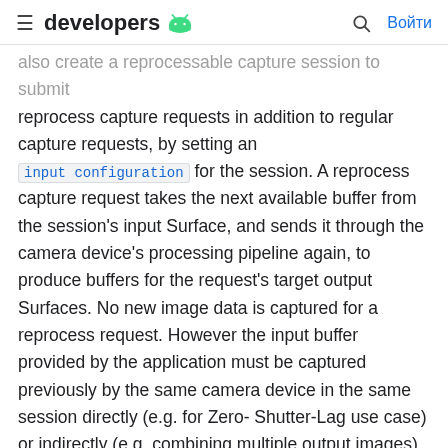developers [android logo] [search] Войти
also create a reprocessable capture session to submit reprocess capture requests in addition to regular capture requests, by setting an input configuration for the session. A reprocess capture request takes the next available buffer from the session's input Surface, and sends it through the camera device's processing pipeline again, to produce buffers for the request's target output Surfaces. No new image data is captured for a reprocess request. However the input buffer provided by the application must be captured previously by the same camera device in the same session directly (e.g. for Zero-Shutter-Lag use case) or indirectly (e.g. combining multiple output images).
The active reprocessable capture session determines an input Surface and the set of potential output Surfaces for the camera devices for each capture request. The application can use createCaptureRequest to create